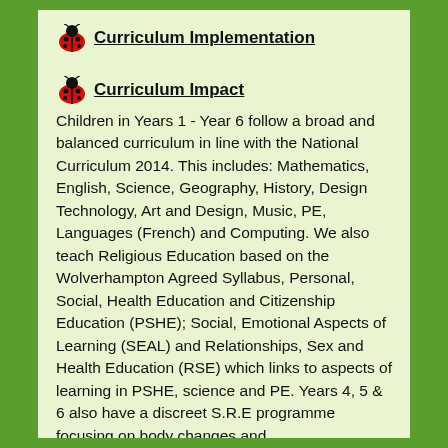Curriculum Implementation
Curriculum Impact
Children in Years 1 - Year 6 follow a broad and balanced curriculum in line with the National Curriculum 2014. This includes: Mathematics, English, Science, Geography, History, Design Technology, Art and Design, Music, PE, Languages (French) and Computing. We also teach Religious Education based on the Wolverhampton Agreed Syllabus, Personal, Social, Health Education and Citizenship Education (PSHE); Social, Emotional Aspects of Learning (SEAL) and Relationships, Sex and Health Education (RSE) which links to aspects of learning in PSHE, science and PE. Years 4, 5 & 6 also have a discreet S.R.E programme focusing on body changes and…